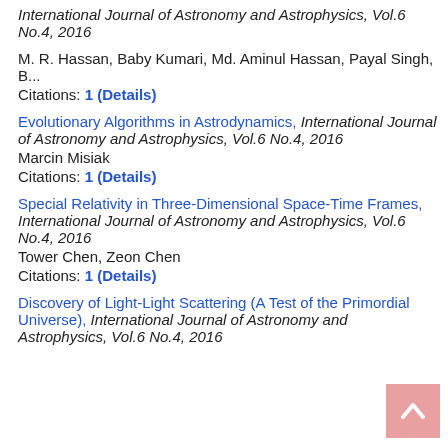International Journal of Astronomy and Astrophysics, Vol.6 No.4, 2016
M. R. Hassan, Baby Kumari, Md. Aminul Hassan, Payal Singh, B...
Citations: 1 (Details)
Evolutionary Algorithms in Astrodynamics, International Journal of Astronomy and Astrophysics, Vol.6 No.4, 2016
Marcin Misiak
Citations: 1 (Details)
Special Relativity in Three-Dimensional Space-Time Frames, International Journal of Astronomy and Astrophysics, Vol.6 No.4, 2016
Tower Chen, Zeon Chen
Citations: 1 (Details)
Discovery of Light-Light Scattering (A Test of the Primordial Universe), International Journal of Astronomy and Astrophysics, Vol.6 No.4, 2016